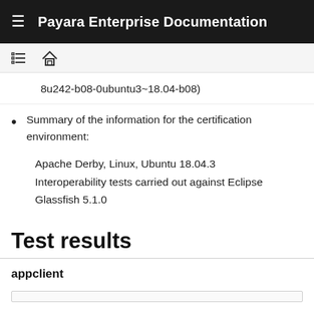Payara Enterprise Documentation
8u242-b08-0ubuntu3~18.04-b08)
Summary of the information for the certification environment:
Apache Derby, Linux, Ubuntu 18.04.3
Interoperability tests carried out against Eclipse Glassfish 5.1.0
Test results
appclient